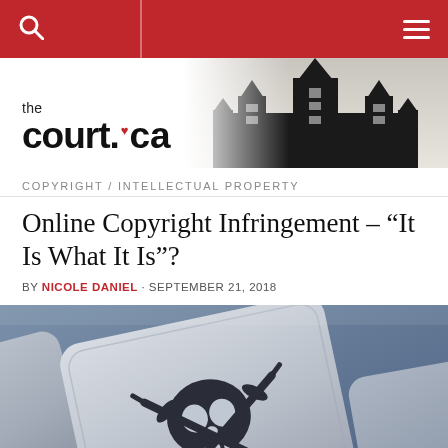thecourt.ca navigation bar with search and menu icons
[Figure (photo): thecourt.ca logo with maple leaf and Supreme Court of Canada building silhouette in background]
COPYRIGHT / INTELLECTUAL PROPERTY
Online Copyright Infringement – “It Is What It Is”?
BY NICOLE DANIEL · SEPTEMBER 21, 2018
[Figure (photo): Close-up photograph of a keyboard key with a pirate skull and crossbones symbol (Jolly Roger) engraved on it, symbolizing online piracy and copyright infringement]